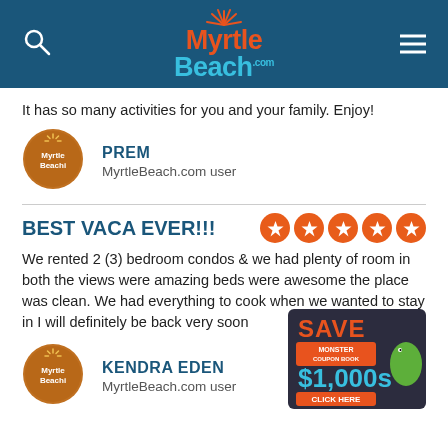[Figure (logo): MyrtleBeach.com website header with logo, search icon, and hamburger menu on dark blue background]
It has so many activities for you and your family. Enjoy!
[Figure (photo): Myrtle Beach circular avatar logo for user PREM]
PREM
MyrtleBeach.com user
BEST VACA EVER!!!
[Figure (infographic): 5 orange star rating circles]
We rented 2 (3) bedroom condos & we had plenty of room in both the views were amazing beds were awesome the place was clean. We had everything to cook when we wanted to stay in I will definitely be back very soon
[Figure (photo): Myrtle Beach circular avatar logo for user KENDRA EDEN]
KENDRA EDEN
MyrtleBeach.com user
[Figure (infographic): Save Monster Coupon Book $1,000s - Click Here advertisement badge]